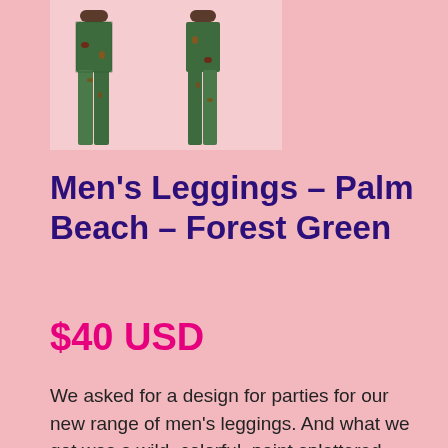[Figure (photo): Two figures wearing patterned men's leggings in forest green/dark colors, showing the product from the waist down]
Men's Leggings – Palm Beach – Forest Green
$40 USD
We asked for a design for parties for our new range of men's leggings. And what we got was a wild, colorful, paint splattered moss. Our designer